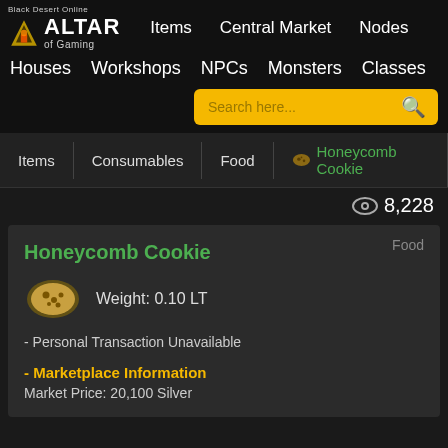Black Desert Online — Altar of Gaming — Items | Central Market | Nodes | Houses | Workshops | NPCs | Monsters | Classes
Items | Consumables | Food | Honeycomb Cookie
👁 8,228
Food
Honeycomb Cookie
Weight: 0.10 LT
- Personal Transaction Unavailable
- Marketplace Information
Market Price: 20,100 Silver